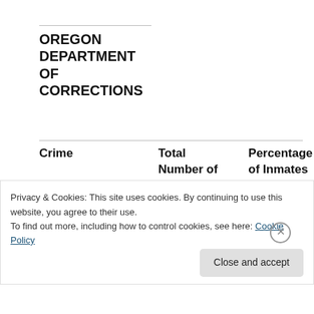OREGON DEPARTMENT OF CORRECTIONS
| Crime | Total Number of Inmates W/ ICE Detainers | Percentage of Inmates W/ICE Detainers in DOC |
| --- | --- | --- |
Privacy & Cookies: This site uses cookies. By continuing to use this website, you agree to their use.
To find out more, including how to control cookies, see here: Cookie Policy